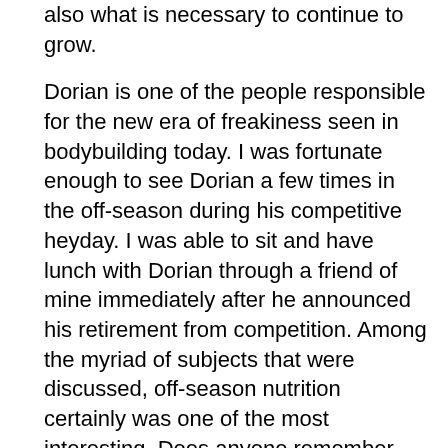also what is necessary to continue to grow.

Dorian is one of the people responsible for the new era of freakiness seen in bodybuilding today. I was fortunate enough to see Dorian a few times in the off-season during his competitive heyday. I was able to sit and have lunch with Dorian through a friend of mine immediately after he announced his retirement from competition. Among the myriad of subjects that were discussed, off-season nutrition certainly was one of the most interesting. Does anyone remember the 1995 Night of Champions when Dorian guest-posed at roughly 300 lbs? That was nearly unheard of at the time. Many said that he was too fat and out of shape and that would never come be able to come down for the O. Not only did Dorian show them right by...